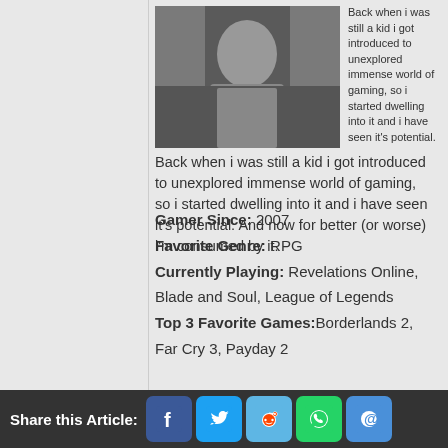[Figure (photo): Profile photo of a young man wearing a dark shirt, close-up portrait shot]
Back when i was still a kid i got introduced to unexplored immense world of gaming, so i started dwelling into it and i have seen it's potential. And now for better (or worse) i'm consumed by it.
Gamer Since: 2007
Favorite Genre: RPG
Currently Playing: Revelations Online, Blade and Soul, League of Legends
Top 3 Favorite Games:Borderlands 2, Far Cry 3, Payday 2
Share this Article: